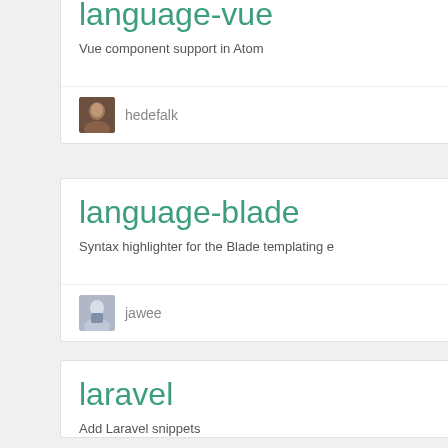language-vue
Vue component support in Atom
hedefalk
language-blade
Syntax highlighter for the Blade templating e
jawee
laravel
Add Laravel snippets